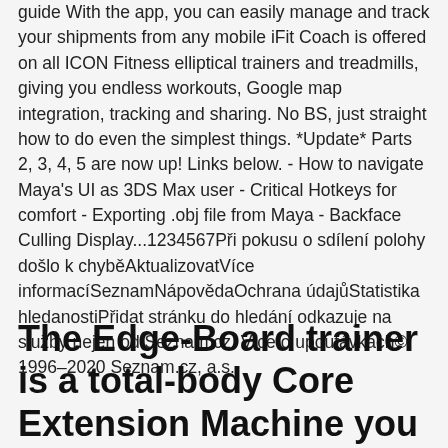guide With the app, you can easily manage and track your shipments from any mobile iFit Coach is offered on all ICON Fitness elliptical trainers and treadmills, giving you endless workouts, Google map integration, tracking and sharing. No BS, just straight how to do even the simplest things. *Update* Parts 2, 3, 4, 5 are now up! Links below. - How to navigate Maya's UI as 3DS Max user - Critical Hotkeys for comfort - Exporting .obj file from Maya - Backface Culling Display...1234567Při pokusu o sdílení polohy došlo k chyběAktualizovatVíce informacíSeznamNápovědaOchrana údajůStatistika hledanostiPřidat stránku do hledání odkazuje na služby nejen od Seznam.cz. Více o upoutávkách© 1996–2020 Seznam.cz, a.s.
The Edge-Board trainer is a total-body Core Extension Machine you